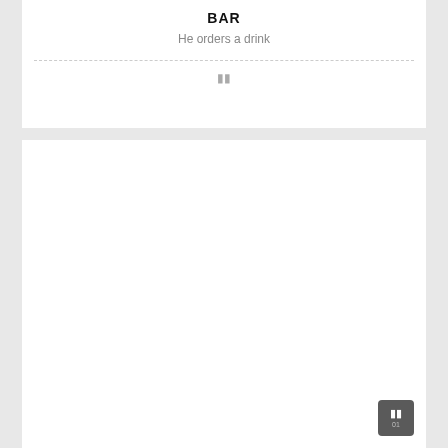BAR
He orders a drink
[Figure (other): Empty white card area below divider with a small pause icon]
[Figure (other): Large empty white card below the top card]